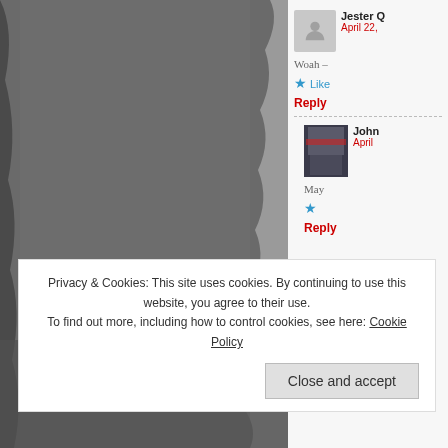[Figure (photo): Grayscale photo with torn/rough left edge, dark gray tones]
Jester Q
April 22,
Woah –
Like
Reply
John
April
May
Reply
Privacy & Cookies: This site uses cookies. By continuing to use this website, you agree to their use.
To find out more, including how to control cookies, see here: Cookie Policy
Close and accept